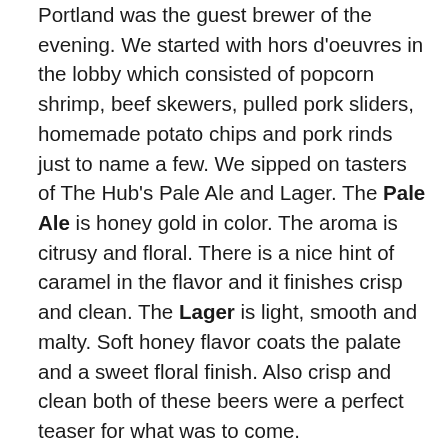Portland was the guest brewer of the evening. We started with hors d'oeuvres in the lobby which consisted of popcorn shrimp, beef skewers, pulled pork sliders, homemade potato chips and pork rinds just to name a few. We sipped on tasters of The Hub's Pale Ale and Lager. The Pale Ale is honey gold in color. The aroma is citrusy and floral. There is a nice hint of caramel in the flavor and it finishes crisp and clean. The Lager is light, smooth and malty. Soft honey flavor coats the palate and a sweet floral finish. Also crisp and clean both of these beers were a perfect teaser for what was to come.

As we sat down at our tables I was shocked and excited to discover that my husband and I would be sharing our table with Don Scheidt of Celebrator Beer News and his lovely wife. As we settled in we were handed what has to be the most creative menu I have ever seen. Drawn up like a